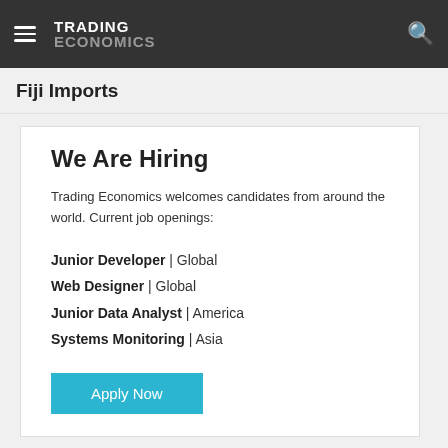TRADING ECONOMICS
Fiji Imports
We Are Hiring
Trading Economics welcomes candidates from around the world. Current job openings:
Junior Developer | Global
Web Designer | Global
Junior Data Analyst | America
Systems Monitoring | Asia
Apply Now